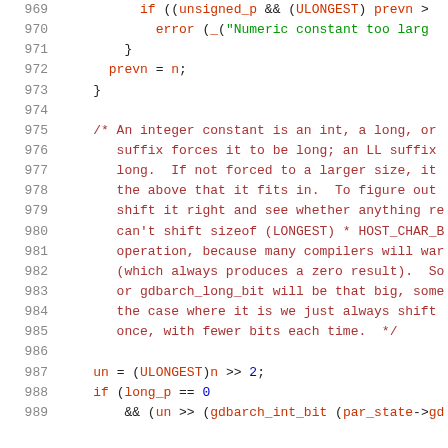[Figure (screenshot): Source code listing lines 969-989 of a C file, showing integer constant type-checking logic with syntax highlighting. Line numbers in gray on left, keywords/identifiers in dark red, string literals in green, comments in brownish red, plain code in dark gray.]